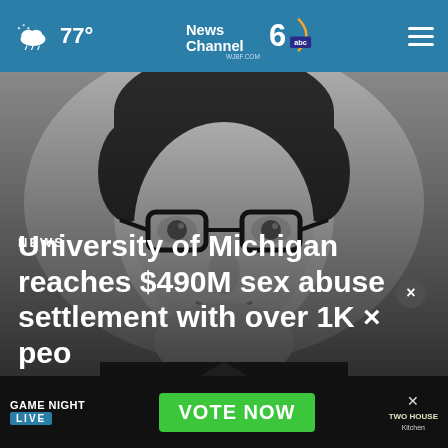77° | News Channel 6 ABC | WJBF.COM
[Figure (photo): Black and white photo of a man with glasses, dark hair, wearing a suit]
NEWS
University of Michigan reaches $490M sex abuse settlement with over 1K peo…
[Figure (infographic): Advertisement banner: GAME NIGHT LIVE | VOTE NOW | Two House Kitchen]